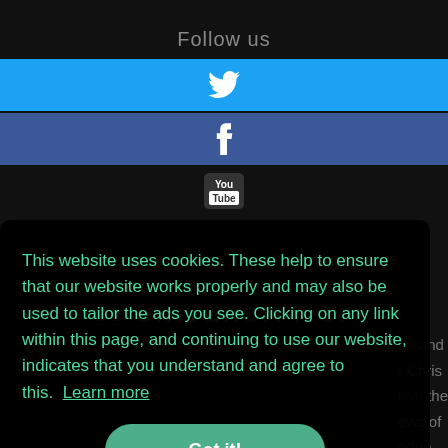Follow us
[Figure (logo): Twitter bird icon on cyan/blue background bar]
[Figure (logo): Facebook 'f' icon on dark blue background bar]
[Figure (logo): YouTube logo icon below social bars]
[Figure (logo): Partial University of Cambridge logo/text visible in background]
This website uses cookies. These help to ensure that our website works properly and may also be used to tailor the ads you see. Clicking on any link within this page, and continuing to use our website, indicates that you understand and agree to this.  Learn more
Got it!